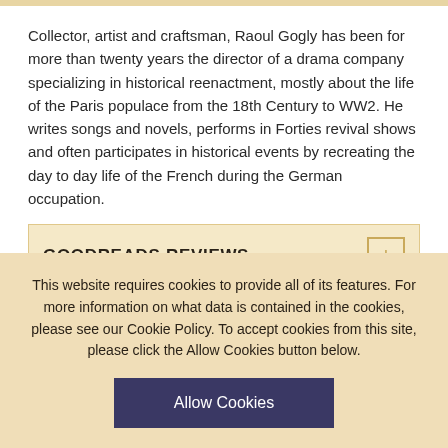Collector, artist and craftsman, Raoul Gogly has been for more than twenty years the director of a drama company specializing in historical reenactment, mostly about the life of the Paris populace from the 18th Century to WW2. He writes songs and novels, performs in Forties revival shows and often participates in historical events by recreating the day to day life of the French during the German occupation.
GOODREADS REVIEWS
MORE FROM THIS PUBLISHER
This website requires cookies to provide all of its features. For more information on what data is contained in the cookies, please see our Cookie Policy. To accept cookies from this site, please click the Allow Cookies button below.